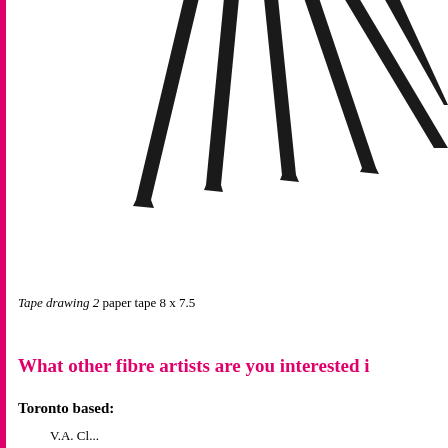[Figure (photo): Photo of diagonal black paper tape strips arranged in a fan-like pattern against a white background, with strips going from upper center toward upper right.]
Tape drawing 2 paper tape 8 x 7.5
What other fibre artists are you interested i
Toronto based:
V.A. Cl... additional text continues below